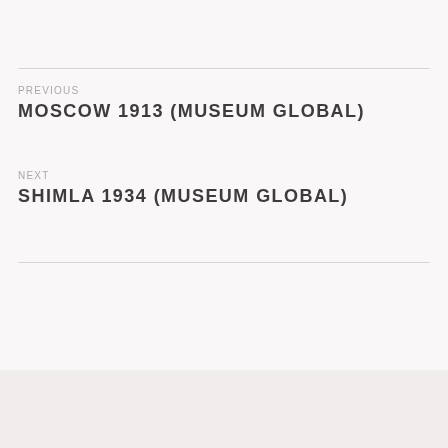PREVIOUS
MOSCOW 1913 (MUSEUM GLOBAL)
NEXT
SHIMLA 1934 (MUSEUM GLOBAL)
CONTACT